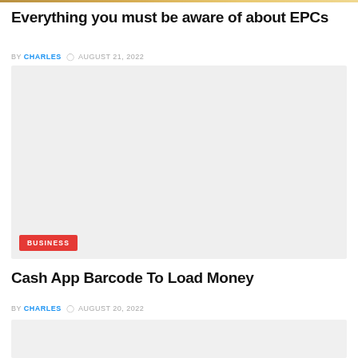[Figure (photo): Top partial image strip showing a photo, partially cropped]
Everything you must be aware of about EPCs
BY CHARLES  AUGUST 21, 2022
[Figure (photo): Large light gray placeholder thumbnail image with BUSINESS badge overlay]
Cash App Barcode To Load Money
BY CHARLES  AUGUST 20, 2022
[Figure (photo): Partial gray placeholder thumbnail image at bottom]